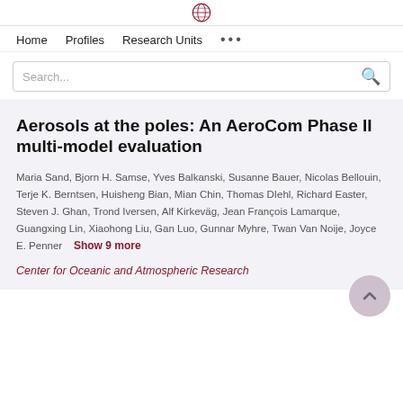[Figure (logo): Globe/world icon representing a university or research portal logo]
Home   Profiles   Research Units   ...
Search...
Aerosols at the poles: An AeroCom Phase II multi-model evaluation
Maria Sand, Bjorn H. Samse, Yves Balkanski, Susanne Bauer, Nicolas Bellouin, Terje K. Berntsen, Huisheng Bian, Mian Chin, Thomas DIehl, Richard Easter, Steven J. Ghan, Trond Iversen, Alf Kirkeväg, Jean François Lamarque, Guangxing Lin, Xiaohong Liu, Gan Luo, Gunnar Myhre, Twan Van Noije, Joyce E. Penner   Show 9 more
Center for Oceanic and Atmospheric Research